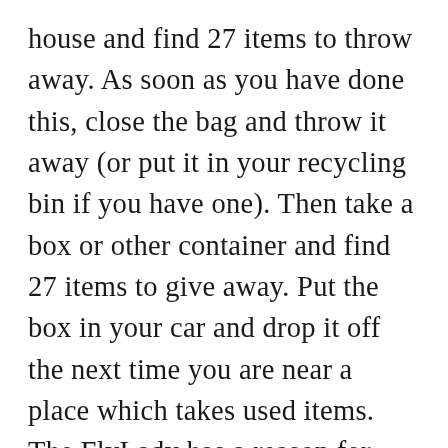house and find 27 items to throw away. As soon as you have done this, close the bag and throw it away (or put it in your recycling bin if you have one). Then take a box or other container and find 27 items to give away. Put the box in your car and drop it off the next time you are near a place which takes used items. The FlyLady has a reason for choosing the number 27 but you can certainly pick another number. And if you don't have time to do both the throw away and the giveaway on the same day, alternate.